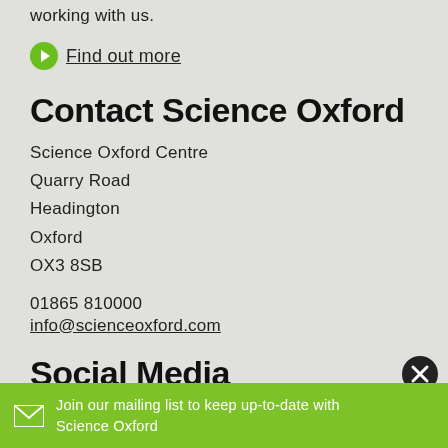working with us.
Find out more
Contact Science Oxford
Science Oxford Centre
Quarry Road
Headington
Oxford
OX3 8SB
01865 810000
info@scienceoxford.com
Social Media
Join our mailing list to keep up-to-date with Science Oxford